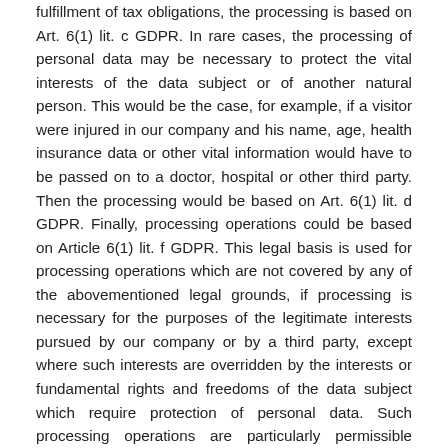fulfillment of tax obligations, the processing is based on Art. 6(1) lit. c GDPR. In rare cases, the processing of personal data may be necessary to protect the vital interests of the data subject or of another natural person. This would be the case, for example, if a visitor were injured in our company and his name, age, health insurance data or other vital information would have to be passed on to a doctor, hospital or other third party. Then the processing would be based on Art. 6(1) lit. d GDPR. Finally, processing operations could be based on Article 6(1) lit. f GDPR. This legal basis is used for processing operations which are not covered by any of the abovementioned legal grounds, if processing is necessary for the purposes of the legitimate interests pursued by our company or by a third party, except where such interests are overridden by the interests or fundamental rights and freedoms of the data subject which require protection of personal data. Such processing operations are particularly permissible because they have been specifically mentioned by the European legislator. He considered that a legitimate interest could be assumed if the data subject is a client of the controller (Recital